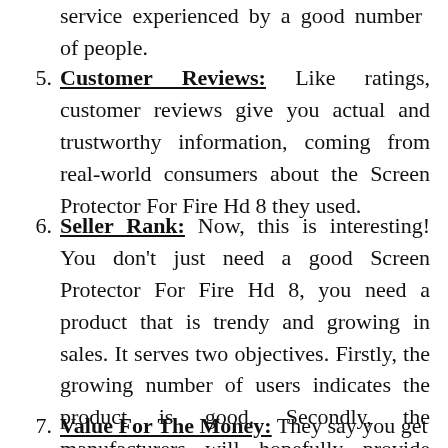service experienced by a good number of people.
Customer Reviews: Like ratings, customer reviews give you actual and trustworthy information, coming from real-world consumers about the Screen Protector For Fire Hd 8 they used.
Seller Rank: Now, this is interesting! You don't just need a good Screen Protector For Fire Hd 8, you need a product that is trendy and growing in sales. It serves two objectives. Firstly, the growing number of users indicates the product is good. Secondly, the manufacturers will hopefully provide better quality and after-sales service because of that growing number.
Value For The Money: They say you get